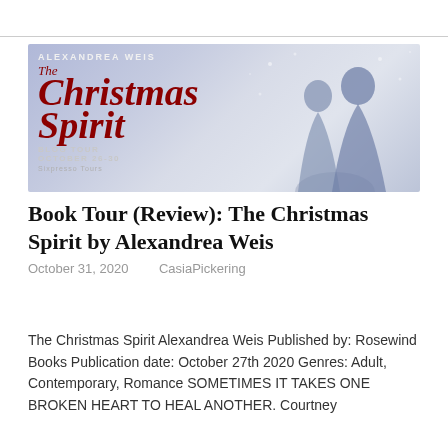[Figure (illustration): Book tour banner for 'The Christmas Spirit' by Alexandrea Weis. Dark red cursive title text on a lavender/blue gradient background with silhouettes of a couple. Text reads: ALEXANDREA WEIS / The Christmas Spirit / BLOG TOUR / OCTOBER 26-30 / XPRESSO TOURS]
Book Tour (Review): The Christmas Spirit by Alexandrea Weis
October 31, 2020   CasiaPickering
The Christmas Spirit Alexandrea Weis Published by: Rosewind Books Publication date: October 27th 2020 Genres: Adult, Contemporary, Romance SOMETIMES IT TAKES ONE BROKEN HEART TO HEAL ANOTHER. Courtney